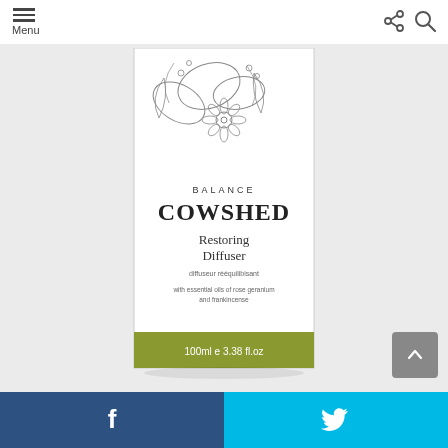Menu
[Figure (photo): Cowshed Balance Restoring Diffuser product box. White box with botanical floral line-art illustration at top. Text on box: BALANCE, COWSHED, Restoring Diffuser, diffuseur rééquilibisant, with essential oils of rose geranium and frankincense. Olive/green band at bottom with: 100ml e 3.38 fl.oz]
Facebook share | Twitter share